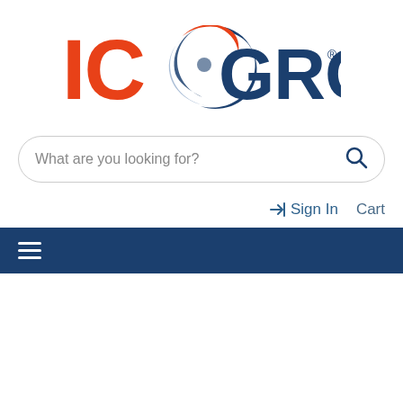[Figure (logo): ICO GROUP logo with orange 'IC' text and blue swirl icon, followed by 'GROUP' in dark navy text with registered trademark symbol]
What are you looking for?
→] Sign In    Cart
[Figure (other): Dark navy navigation bar with hamburger menu icon (three horizontal lines)]